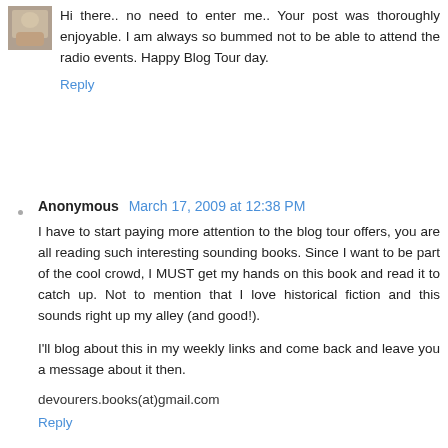Hi there.. no need to enter me.. Your post was thoroughly enjoyable. I am always so bummed not to be able to attend the radio events. Happy Blog Tour day.
Reply
Anonymous March 17, 2009 at 12:38 PM
I have to start paying more attention to the blog tour offers, you are all reading such interesting sounding books. Since I want to be part of the cool crowd, I MUST get my hands on this book and read it to catch up. Not to mention that I love historical fiction and this sounds right up my alley (and good!).
I'll blog about this in my weekly links and come back and leave you a message about it then.
devourers.books(at)gmail.com
Reply